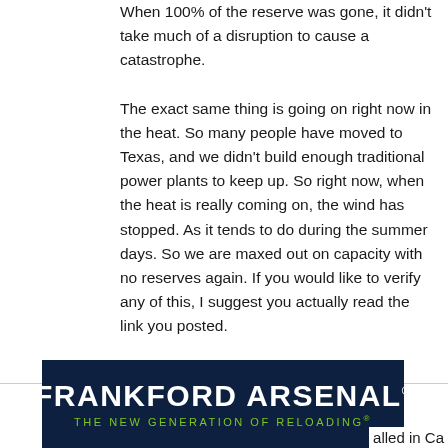When 100% of the reserve was gone, it didn't take much of a disruption to cause a catastrophe. The exact same thing is going on right now in the heat. So many people have moved to Texas, and we didn't build enough traditional power plants to keep up. So right now, when the heat is really coming on, the wind has stopped. As it tends to do during the summer days. So we are maxed out on capacity with no reserves again. If you would like to verify any of this, I suggest you actually read the link you posted.
Reply
rt66paul
[Figure (infographic): Frankford Arsenal advertisement banner with dark navy background, large bold white text 'FRANKFORD ARSENAL' and green subtitle 'THE NEW GENERATION OF RELOADING']
alled in Ca